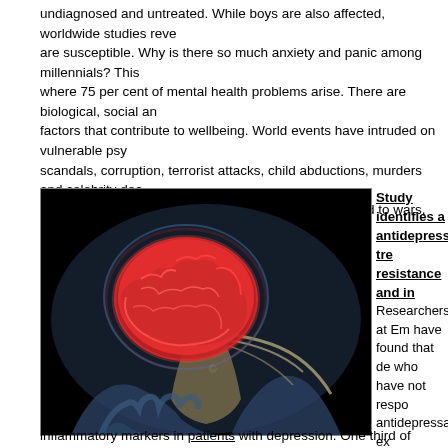undiagnosed and untreated. While boys are also affected, worldwide studies reveal girls are susceptible. Why is there so much anxiety and panic among millennials? This is where 75 per cent of mental health problems arise. There are biological, social and factors that contribute to wellbeing. World events have intruded on vulnerable psyches: scandals, corruption, terrorist attacks, child abductions, murders and celebrity deaths sense of safety. But previous generations were exposed to wars, recessions, trauma health.
[Figure (photo): Medical illustration of a glowing red human brain held in transparent blue-toned hands against a black background, with neural pathways visible.]
Study identifies antidepressant treatment resistance and inflammation
Researchers at Emory have found that depressed patients who have not responded to antidepressants exhibit increased inflammation. Results were recently published in the journal, Psychoneuroendocrinology. The study shows that antidepressant treatment resistance is associated with increased inflammatory markers in patients with depression. One third of patients with depression